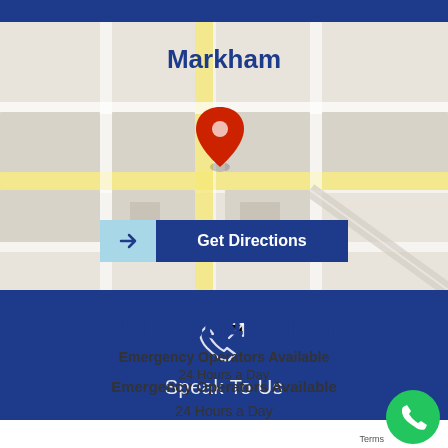[Figure (map): Street map showing Markham location with red pin marker]
Markham
Get Directions
[Figure (illustration): Phone icon with arrow, on dark blue background, above Speak To Us text]
Speak To Us
416-564-0006
Emergency Operators Available
24 Hours a Day